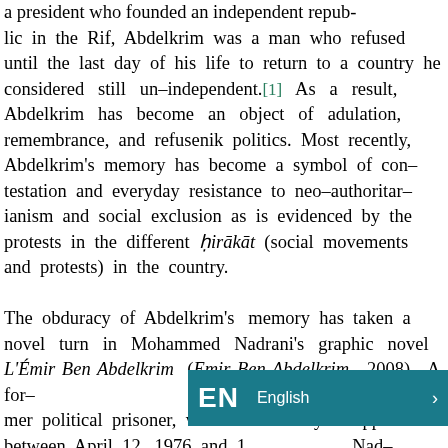a president who founded an independent republic in the Rif, Abdelkrim was a man who refused until the last day of his life to return to a country he considered still un-independent.[1] As a result, Abdelkrim has become an object of adulation, remembrance, and refusenik politics. Most recently, Abdelkrim's memory has become a symbol of contestation and everyday resistance to neo-authoritarianism and social exclusion as is evidenced by the protests in the different ḥirākāt (social movements and protests) in the country.

The obduracy of Abdelkrim's memory has taken a novel turn in Mohammed Nadrani's graphic novel L'Émir Ben Abdelkrim (Emir Ben Abdelkrim, 2008). A former political prisoner, who was forcibly disappeared between April 12, 1976 and [obscured] Nadrani learned how to draw [obscured]